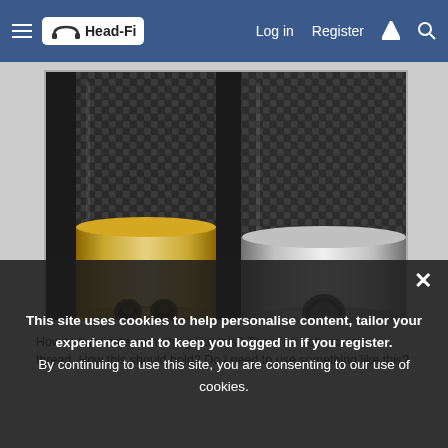Head-Fi | Log in | Register
[Figure (photo): Two carbon fiber cylindrical audio connectors/plugs side by side on a dark surface. The left one has a gold-colored metal end cap with two circular holes. The right one has a silver/chrome metal end cap with a single central socket.]
How to terminate something like this? There no bolt, no screw, thread. How this should hold? Do I need to use something like this?
This site uses cookies to help personalise content, tailor your experience and to keep you logged in if you register. By continuing to use this site, you are consenting to our use of cookies.